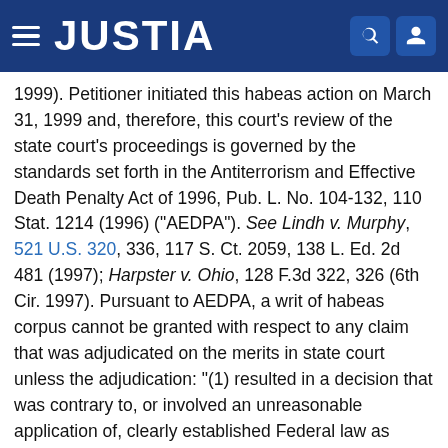JUSTIA
1999). Petitioner initiated this habeas action on March 31, 1999 and, therefore, this court's review of the state court's proceedings is governed by the standards set forth in the Antiterrorism and Effective Death Penalty Act of 1996, Pub. L. No. 104-132, 110 Stat. 1214 (1996) ("AEDPA"). See Lindh v. Murphy, 521 U.S. 320, 336, 117 S. Ct. 2059, 138 L. Ed. 2d 481 (1997); Harpster v. Ohio, 128 F.3d 322, 326 (6th Cir. 1997). Pursuant to AEDPA, a writ of habeas corpus cannot be granted with respect to any claim that was adjudicated on the merits in state court unless the adjudication: "(1) resulted in a decision that was contrary to, or involved an unreasonable application of, clearly established Federal law as determined by the Supreme Court of the United States; or (2) resulted in a decision that was based upon an unreasonable determination of the facts in light of the evidence presented in the State court proceeding." 28